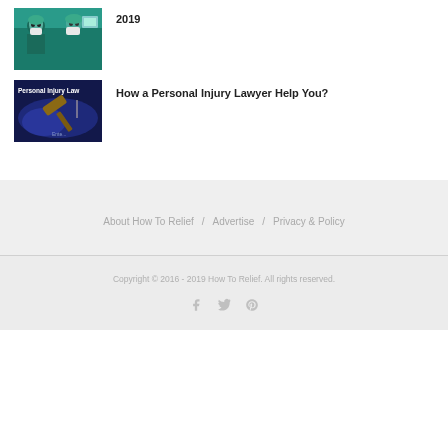[Figure (photo): Medical/surgery professionals in teal scrubs]
2019
[Figure (photo): Personal Injury Law text over gavel and blue light background]
How a Personal Injury Lawyer Help You?
About How To Relief / Advertise / Privacy & Policy
Copyright © 2016 - 2019 How To Relief. All rights reserved.